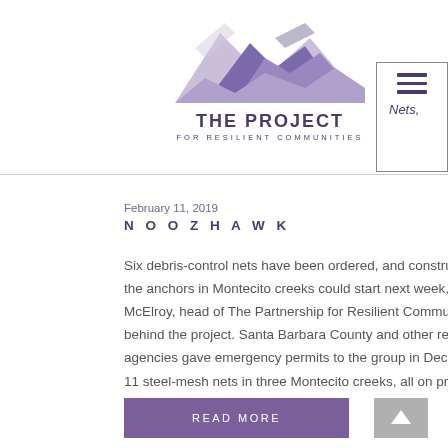The Project for Resilient Communities
February 11, 2019
NOOZHAWK
Six debris-control nets have been ordered, and construction to install the anchors in Montecito creeks could start next week, according to Pat McElroy, head of The Partnership for Resilient Communities nonprofit behind the project. Santa Barbara County and other regulatory agencies gave emergency permits to the group in December to install 11 steel-mesh nets in three Montecito creeks, all on private property.
READ MORE